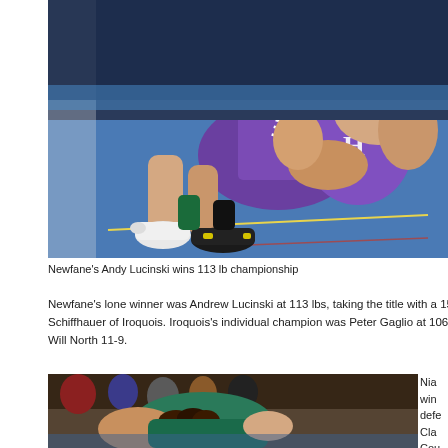[Figure (photo): Wrestling match photo showing two wrestlers on a blue mat, one in a purple singlet being pinned. White wrestling shoes visible.]
Newfane's Andy Lucinski wins 113 lb championship
Newfane's lone winner was Andrew Lucinski at 113 lbs, taking the title with a 15-1 decision over Schiffhauer of Iroquois. Iroquois's individual champion was Peter Gaglio at 106 lbs, defe... Will North 11-9.
[Figure (photo): Wrestling match photo showing two wrestlers, one in a green/teal singlet, at bottom of page.]
Nia... win... defe... Cla... Cou... Ran...